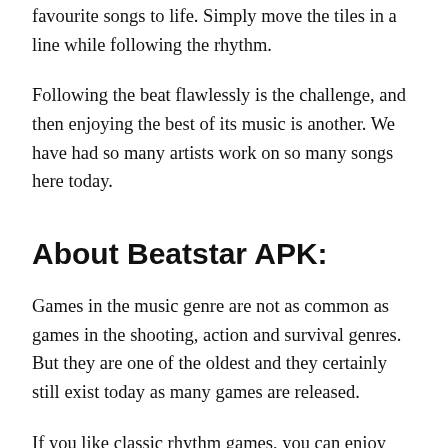favourite songs to life. Simply move the tiles in a line while following the rhythm.
Following the beat flawlessly is the challenge, and then enjoying the best of its music is another. We have had so many artists work on so many songs here today.
About Beatstar APK:
Games in the music genre are not as common as games in the shooting, action and survival genres. But they are one of the oldest and they certainly still exist today as many games are released.
If you like classic rhythm games, you can enjoy Beatstar today! Here you can discover new songs